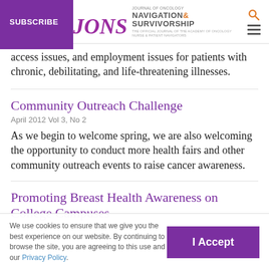SUBSCRIBE | JONS Journal of Oncology Navigation & Survivorship
access issues, and employment issues for patients with chronic, debilitating, and life-threatening illnesses.
Community Outreach Challenge
April 2012 Vol 3, No 2
As we begin to welcome spring, we are also welcoming the opportunity to conduct more health fairs and other community outreach events to raise cancer awareness.
Promoting Breast Health Awareness on College Campuses
We use cookies to ensure that we give you the best experience on our website. By continuing to browse the site, you are agreeing to this use and our Privacy Policy.